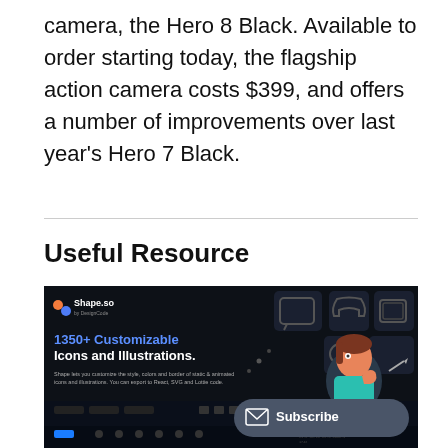camera, the Hero 8 Black. Available to order starting today, the flagship action camera costs $399, and offers a number of improvements over last year's Hero 7 Black.
Useful Resource
[Figure (screenshot): Screenshot of Shape.so website showing '1350+ Customizable Icons and Illustrations.' with a dark background, colorful logo, and a Subscribe button overlay.]